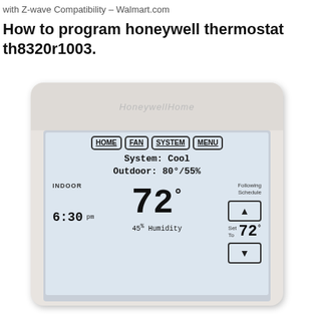with Z-wave Compatibility – Walmart.com
How to program honeywell thermostat th8320r1003.
[Figure (photo): Honeywell Home thermostat TH8320R1003 displaying: System: Cool, Outdoor: 80°/55%, Indoor temperature 72°, time 6:30 pm, 45% Humidity, Following Schedule, Set To 72°, with HOME, FAN, SYSTEM, MENU buttons]